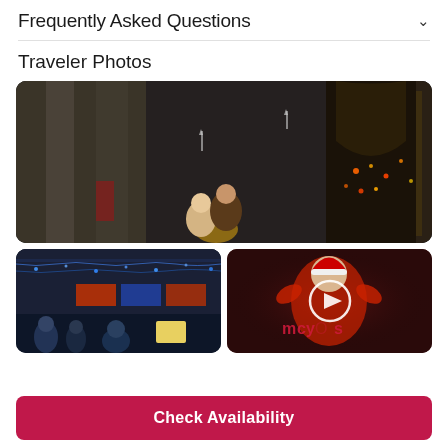Frequently Asked Questions
Traveler Photos
[Figure (photo): Night photo of a large stone building entrance with tall columns and ornate golden doors decorated with Christmas wreaths and lights; a couple poses in the foreground]
[Figure (photo): Night street scene with Christmas lights and decorations on a large building facade, with crowd of people and a person in foreground holding a paper]
[Figure (photo): Dark image showing a Macy's Santa Claus advertisement with a circular arrow play button overlay in the center]
Check Availability